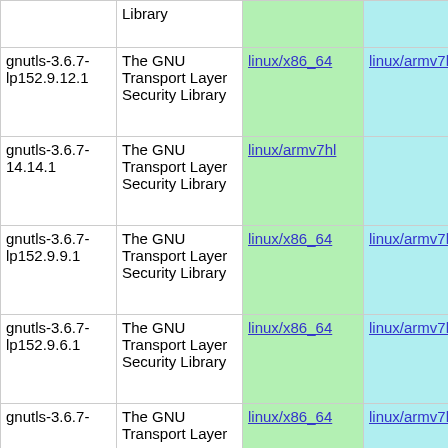| Package | Description | Build 1 | Build 2 | Build 3 |
| --- | --- | --- | --- | --- |
|  | Library |  |  |  |
| gnutls-3.6.7-lp152.9.12.1 | The GNU Transport Layer Security Library | linux/x86_64 | linux/armv7hl | linux/aarch6- |
| gnutls-3.6.7-14.14.1 | The GNU Transport Layer Security Library | linux/armv7hl |  |  |
| gnutls-3.6.7-lp152.9.9.1 | The GNU Transport Layer Security Library | linux/x86_64 | linux/armv7hl | linux/aarch6- |
| gnutls-3.6.7-lp152.9.6.1 | The GNU Transport Layer Security Library | linux/x86_64 | linux/armv7hl | linux/aarch6- |
| gnutls-3.6.7- | The GNU Transport Layer | linux/x86_64 | linux/armv7hl | linux/aarch6- |